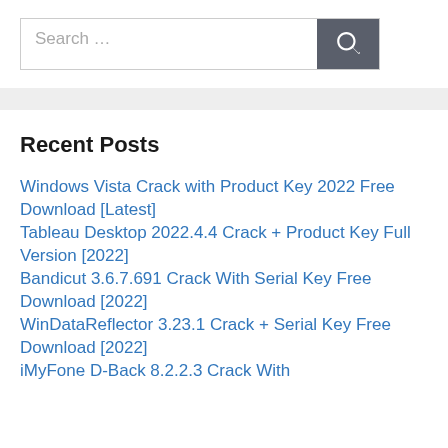[Figure (other): Search bar with text input placeholder 'Search …' and dark gray search button with magnifying glass icon]
Recent Posts
Windows Vista Crack with Product Key 2022 Free Download [Latest]
Tableau Desktop 2022.4.4 Crack + Product Key Full Version [2022]
Bandicut 3.6.7.691 Crack With Serial Key Free Download [2022]
WinDataReflector 3.23.1 Crack + Serial Key Free Download [2022]
iMyFone D-Back 8.2.2.3 Crack With